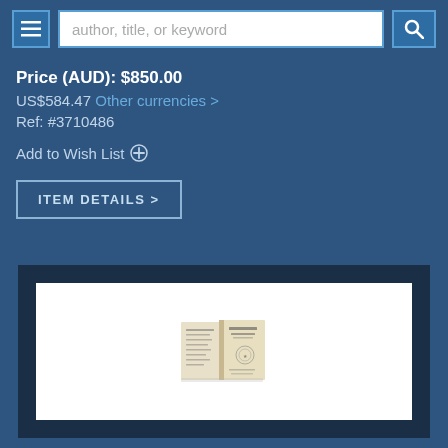[Figure (screenshot): Navigation bar with hamburger menu button, search input field with placeholder 'author, title, or keyword', and search button with magnifying glass icon]
Price (AUD): $850.00
US$584.47 Other currencies >
Ref: #3710486
Add to Wish List +
ITEM DETAILS >
[Figure (photo): An old small open book displayed against white background, showing aged pages with text and an emblem or illustration on the right page]